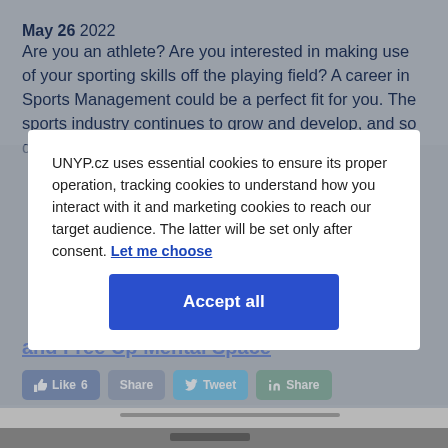May 26  2022
Are you an athlete? Are you interested in making use of your sporting skills off the playing field? A career in Sports Management could be a perfect fit for you. The sports industry continues to grow and develop, and so do the
UNYP.cz uses essential cookies to ensure its proper operation, tracking cookies to understand how you interact with it and marketing cookies to reach our target audience. The latter will be set only after consent. Let me choose
Accept all
and Free Up Mental Space
Like 6   Share   Tweet   Share